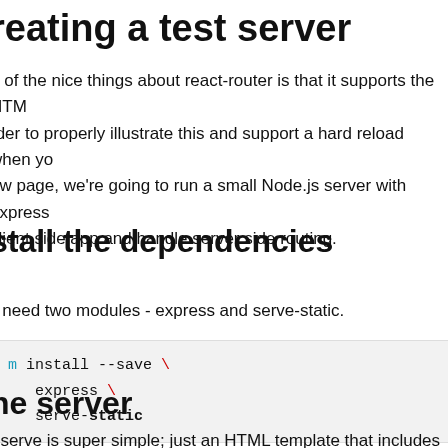reating a test server
e of the nice things about react-router is that it supports the HTM rder to properly illustrate this and support a hard reload when y ew page, we're going to run a small Node.js server with express client side app and handle server side routing.
stall the dependencies
ll need two modules - express and serve-static.
npm install --save \
   express \
   serve-static
ne server
r serve is super simple; just an HTML template that includes our